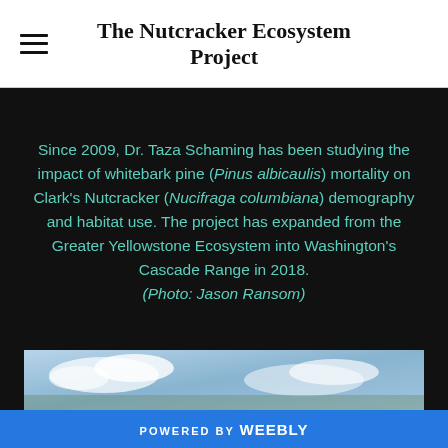The Nutcracker Ecosystem Project
Since 2009, Dr. Taza Schaming has been studying the impact of whitebark pine (Pinus albicaulis) mortality on Clark's Nutcracker (Nucifraga columbiana) demography and habitat use. The project has expanded from the Greater Yellowstone Ecosystem into Washington's Cascade Range in 2018. (Photo: Jason Ransom)
[Figure (photo): A partial view of a sky/landscape photograph at the bottom of the page]
POWERED BY weebly